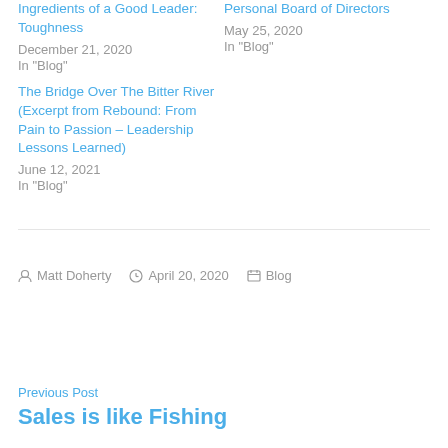Ingredients of a Good Leader: Toughness
December 21, 2020
In "Blog"
Personal Board of Directors
May 25, 2020
In "Blog"
The Bridge Over The Bitter River (Excerpt from Rebound: From Pain to Passion – Leadership Lessons Learned)
June 12, 2021
In "Blog"
By Matt Doherty   April 20, 2020   Blog
Previous Post
Sales is like Fishing